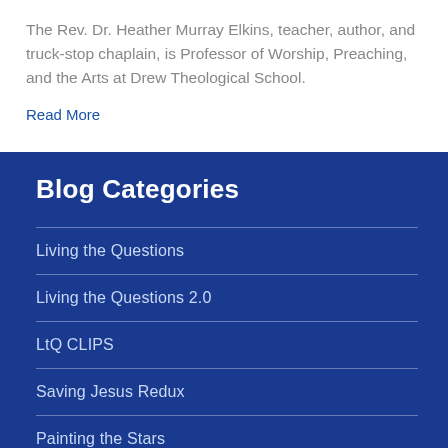The Rev. Dr. Heather Murray Elkins, teacher, author, and truck-stop chaplain, is Professor of Worship, Preaching, and the Arts at Drew Theological School.
Read More
Blog Categories
Living the Questions
Living the Questions 2.0
LtQ CLIPS
Saving Jesus Redux
Painting the Stars